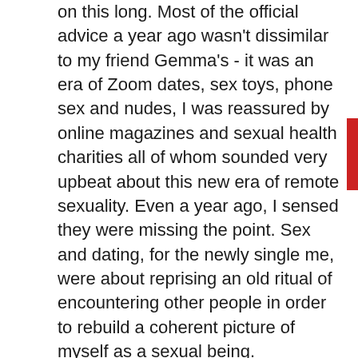on this long. Most of the official advice a year ago wasn't dissimilar to my friend Gemma's - it was an era of Zoom dates, sex toys, phone sex and nudes, I was reassured by online magazines and sexual health charities all of whom sounded very upbeat about this new era of remote sexuality. Even a year ago, I sensed they were missing the point. Sex and dating, for the newly single me, were about reprising an old ritual of encountering other people in order to rebuild a coherent picture of myself as a sexual being.
It's a common belief that any straight cis men who are titillated by the offer of sex with a transgender woman must be physically fetishising us. It's an analysis I've always found tedious and reductive about what even the most